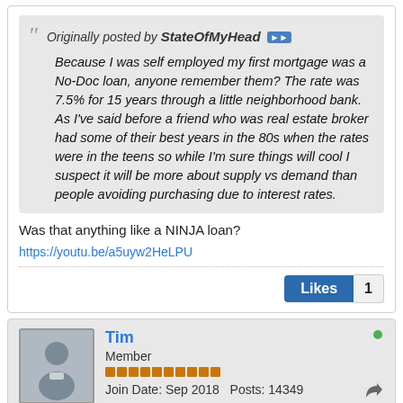Originally posted by StateOfMyHead [>>] Because I was self employed my first mortgage was a No-Doc loan, anyone remember them? The rate was 7.5% for 15 years through a little neighborhood bank. As I've said before a friend who was real estate broker had some of their best years in the 80s when the rates were in the teens so while I'm sure things will cool I suspect it will be more about supply vs demand than people avoiding purchasing due to interest rates.
Was that anything like a NINJA loan?
https://youtu.be/a5uyw2HeLPU
Likes 1
Tim
Member
Join Date: Sep 2018   Posts: 14349